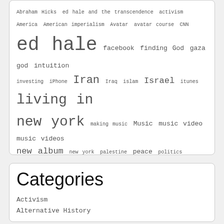[Figure (other): Tag cloud with terms of varying font sizes including: Abraham Hicks, ed hale and the transcendence, activism, America, American imperialism, Avatar, avatar course, CNN, ed hale, facebook, finding God, gaza, god, intuition, investing, iPhone, Iran, Iraq, islam, Israel, itunes, living in new york, making music, Music, music video, music videos, new album, new york, palestine, peace, politics, Rehearsal, Relationships, Religion, Russia, Scene in San Francisco, Sedona Method, social media, songs, songwriting, spotify, the adventures of Fishy, Transcendence, transcendence diaries, United States]
Categories
Activism
Alternative History